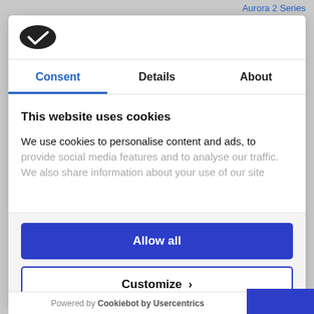Aurora 2 Series
[Figure (logo): Cookiebot logo: black oval with white checkmark]
Consent | Details | About
This website uses cookies
We use cookies to personalise content and ads, to provide social media features and to analyse our traffic. We also share information about your use of our site
Allow all
Customize >
Powered by Cookiebot by Usercentrics